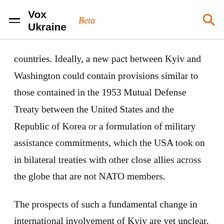Vox Ukraine Beta
countries. Ideally, a new pact between Kyiv and Washington could contain provisions similar to those contained in the 1953 Mutual Defense Treaty between the United States and the Republic of Korea or a formulation of military assistance commitments, which the USA took on in bilateral treaties with other close allies across the globe that are not NATO members.
The prospects of such a fundamental change in international involvement of Kyiv are yet unclear, but other directions of improving